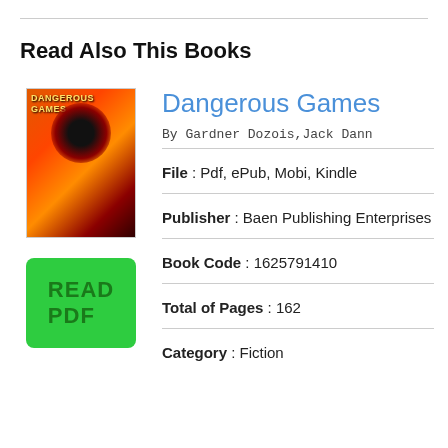Read Also This Books
[Figure (illustration): Book cover for Dangerous Games showing a dark sci-fi design with a black hole or vortex on a fiery red/orange background with title text in yellow]
[Figure (other): Green button labeled READ PDF]
Dangerous Games
By Gardner Dozois, Jack Dann
File : Pdf, ePub, Mobi, Kindle
Publisher : Baen Publishing Enterprises
Book Code : 1625791410
Total of Pages : 162
Category : Fiction